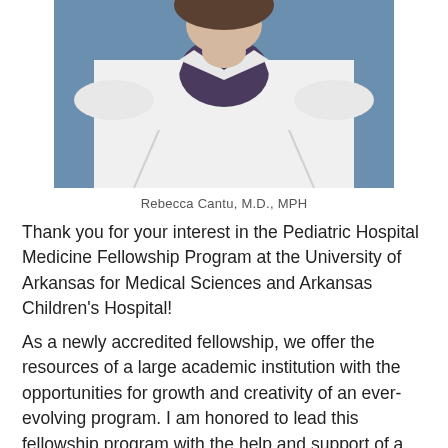[Figure (photo): Professional headshot of a person in a white lab coat over a dark purple shirt, photographed against a blue background. Only the torso and lower face/neck area are visible, cropped at top.]
Rebecca Cantu, M.D., MPH
Thank you for your interest in the Pediatric Hospital Medicine Fellowship Program at the University of Arkansas for Medical Sciences and Arkansas Children's Hospital!
As a newly accredited fellowship, we offer the resources of a large academic institution with the opportunities for growth and creativity of an ever-evolving program. I am honored to lead this fellowship program with the help and support of a truly amazing hospitalist section. Here are just a few reasons why: